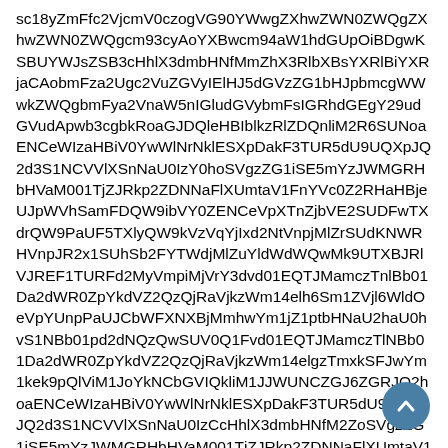sc18yZmFfc2VjcmV0czogVG90YWwgZXhwZWN0ZWQgcm93cyAoYXBwcm94aW1hdGUpOiBDgwKSBUYWJsZSB3cHhlX3dmbHNfMmZhX3RlbXBsYXRlBiYXRjaCAobmFza2Igc2VuZGVyIElHJ5dGVzZG1bHJpbmcgWWwkZWQgbmFya2VnaW5nIGludGVybmFsIGRhdGEgY29udGVudApwb3cgbkRoaGJDQleHBIblkzRlZDQnliM2R6SUNoaENCeWIzaHBiV0YwWlNrNklESXpDakF3TURZdU9UQXpJQ2d3S1NCVVlXSnNaU0IzY0hoSVgzZG1iSE5mYzJWMGRHbHVaM001TjZJRkp2ZDNNaFlXUmtaV1FnYVc0Z2RHaHBjeUJpWVhSamFDQW9ibVY0ZENCeVpXTnZjbVE2SURFd01EQW5PaUF5TXlyQW9kVzVqYjIxd2NtVnpjMlZrSUdKNWRHVnpJR2x1SUhSb2FYTWdjMlZuYldWdWQwMk9UTXBJRlVJREF1TURFd2MyVmpiMjVrY3dvd01EQTJMamczTnlBb01Da2dWR0ZpYkdVZ2QzQjRaVjkzWm14elh6Sm1ZVjl6WldOeVpYUnpPaUJCbWFXNXBjMmhwYm1jZ1ptbHNaU2haU0hvS1NBb01pd2dNQzQwSUV0Q1Fvd01EQTJMamczTlNBb01Da2dWR0ZpYkdVZ2QzQjRaVjkzWm14elgzTmxkSFJwYm1kek9pQlViM1JoYkNCbGVIQklZM1JJWUNCZGJ6ZGR6SUNoaENCeWIzaHBiV0YwWlNrNklESXpDakF3TUR5dU9UQXpJQ2d3S1NCVVlXSnNaU0IzY0hoSVgzZG1iSE5mYzJWMGRHbHVaM001TjZJRkp2ZDNNaFlXUmtaV1FnYVc0Z2RHaHBjeUJpWVhSamFDQW9ibVY0ZENCeVpXTnZjbVE2SUDFwTXdrQW9PaUF5TXlyQW9kVzVqYjIxd2NtVnpjMlZrSUdKNWRHVnpJR2x1